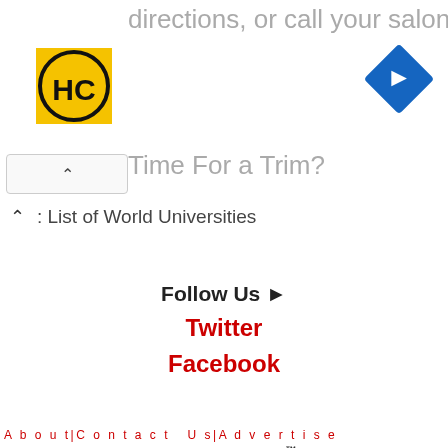[Figure (screenshot): Advertisement banner with HC logo (yellow background, black HC text in circle), navigation arrow icon (blue diamond shape), text 'directions, or call your salon!' and 'Time For a Trim?' with close button]
List of World Universities
Follow Us ▶
Twitter
Facebook
About|Contact Us|Advertise
© 2005-2021 uniRank ™
We use third-party cookies to personalize content, ads and improve your experience. By visiting uniRank, you accept our terms, privacy and cookie policy